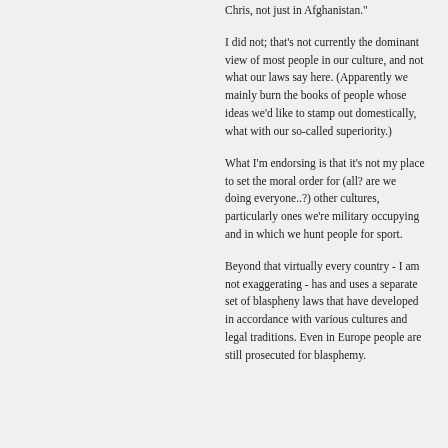Chris, not just in Afghanistan."
I did not; that's not currently the dominant view of most people in our culture, and not what our laws say here. (Apparently we mainly burn the books of people whose ideas we'd like to stamp out domestically, what with our so-called superiority.)
What I'm endorsing is that it's not my place to set the moral order for (all? are we doing everyone..?) other cultures, particularly ones we're military occupying and in which we hunt people for sport.
Beyond that virtually every country - I am not exaggerating - has and uses a separate set of blaspheny laws that have developed in accordance with various cultures and legal traditions. Even in Europe people are still prosecuted for blasphemy.